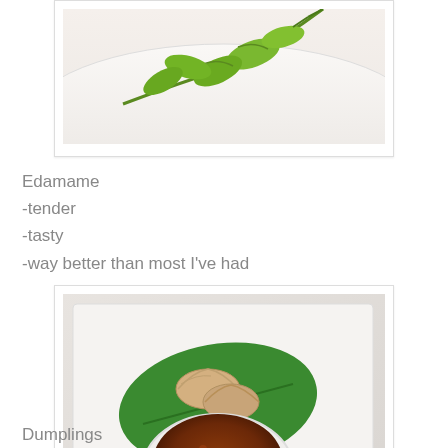[Figure (photo): Photo of edamame pods on a white plate, viewed from above, showing green pods with stems]
Edamame
-tender
-tasty
-way better than most I've had
[Figure (photo): Photo of dumplings served on a green leaf on a white plate, with a small bowl of dark dipping sauce and lemon slice]
Dumplings